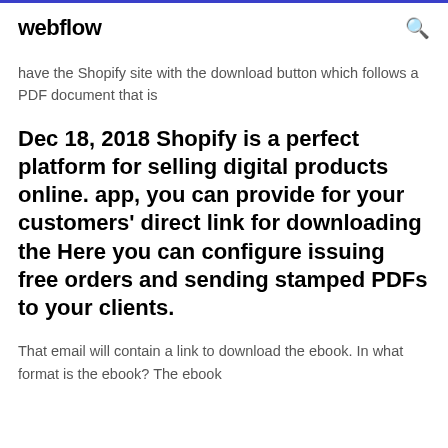webflow
have the Shopify site with the download button which follows a PDF document that is
Dec 18, 2018 Shopify is a perfect platform for selling digital products online. app, you can provide for your customers' direct link for downloading the Here you can configure issuing free orders and sending stamped PDFs to your clients.
That email will contain a link to download the ebook. In what format is the ebook? The ebook